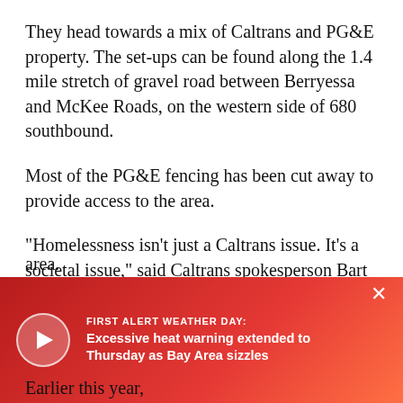They head towards a mix of Caltrans and PG&E property. The set-ups can be found along the 1.4 mile stretch of gravel road between Berryessa and McKee Roads, on the western side of 680 southbound.
Most of the PG&E fencing has been cut away to provide access to the area.
"Homelessness isn't just a Caltrans issue. It's a societal issue," said Caltrans spokesperson Bart Ney.
On Thursday, Ney said the agency mobilized crews within the so-called "hot spot" program who will clear out vegetation [obscured] area.
[Figure (other): Red overlay banner with play button, alert label 'FIRST ALERT WEATHER DAY:' and text 'Excessive heat warning extended to Thursday as Bay Area sizzles', with a close X button]
Earlier this year, Ca...